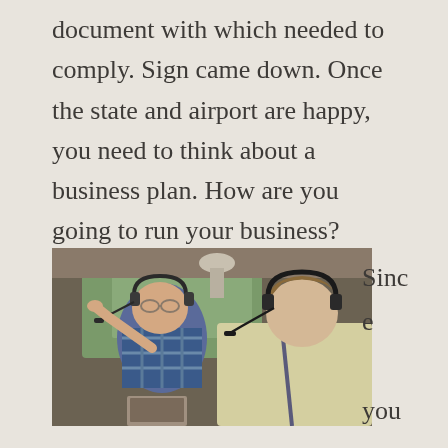document with which needed to comply. Sign came down. Once the state and airport are happy, you need to think about a business plan. How are you going to run your business?
[Figure (photo): Two people wearing aviation headsets seated inside a small aircraft cockpit. An older man in a plaid shirt points toward the windshield while a younger man in a light yellow shirt sits in the pilot seat looking forward.]
Since you are now